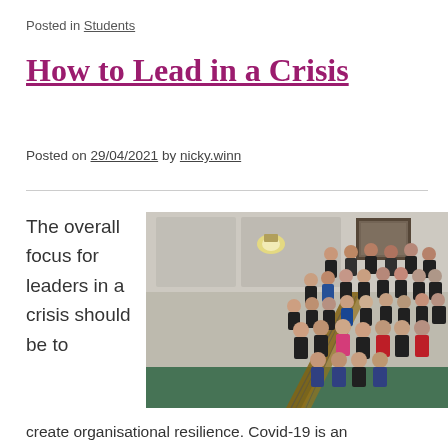Posted in Students
How to Lead in a Crisis
Posted on 29/04/2021 by nicky.winn
[Figure (photo): Group of people in academic gowns posing on a staircase, viewed from above]
The overall focus for leaders in a crisis should be to create organisational resilience. Covid-19 is an unpredictable environment in which